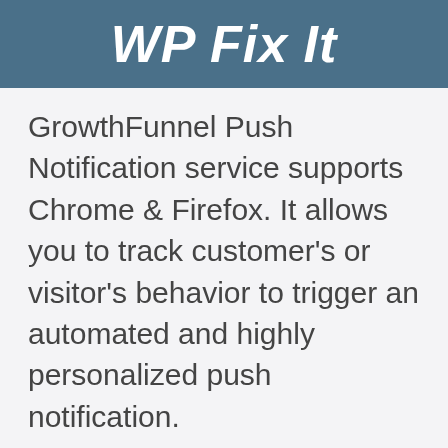WP Fix It
GrowthFunnel Push Notification service supports Chrome & Firefox. It allows you to track customer's or visitor's behavior to trigger an automated and highly personalized push notification.
2. OneSignal – WordPress Push Notification Plugin